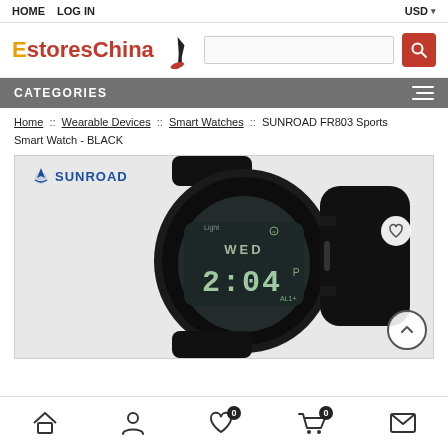HOME  LOG IN   USD ▾
[Figure (logo): EstoresChina logo with orange E, red text 'stores China', stiletto heel icon, search bar, and red search button]
CATEGORIES
Home :: Wearable Devices :: Smart Watches :: SUNROAD FR803 Sports Smart Watch - BLACK
[Figure (photo): Product photo of black SUNROAD FR803 sports smart watch with digital display showing WED 2:04, SUNROAD brand logo at top left, heart/wishlist button top right, scroll-to-top button bottom right]
Home | Account | Wishlist (0) | Cart (0) | Message